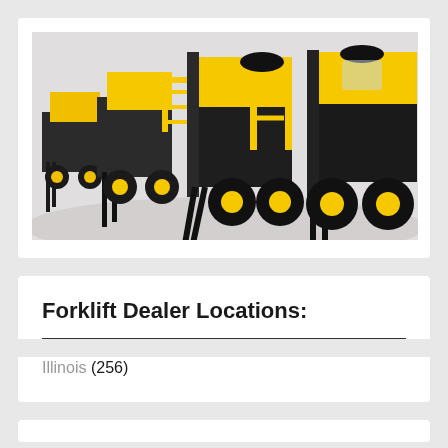[Figure (photo): Group of yellow and black forklifts arranged in a warehouse setting on a white/light grey floor. Multiple forklifts with raised forks visible from the front and side angles.]
Forklift Dealer Locations:
Illinois (256)